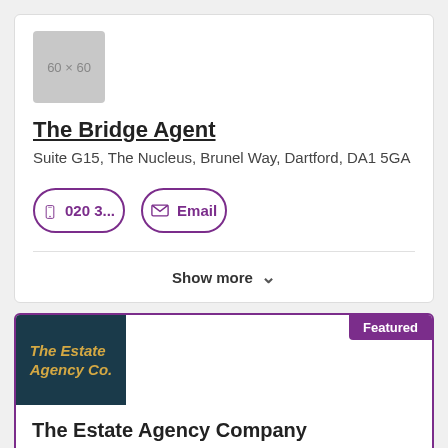[Figure (logo): Placeholder logo box 60x60]
The Bridge Agent
Suite G15, The Nucleus, Brunel Way, Dartford, DA1 5GA
020 3...
Email
Show more
[Figure (logo): The Estate Agency Co. logo — dark teal background with gold italic text]
Featured
The Estate Agency Company
20-23 Woodside Place, Glasgow, G3 7QL